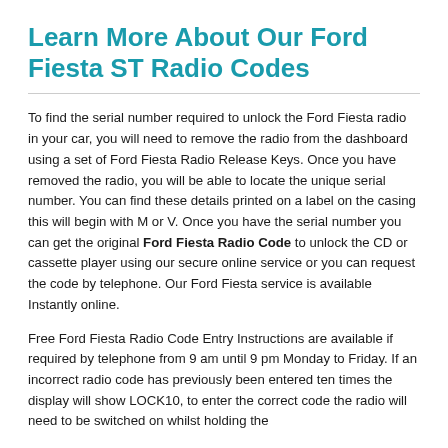Learn More About Our Ford Fiesta ST Radio Codes
To find the serial number required to unlock the Ford Fiesta radio in your car, you will need to remove the radio from the dashboard using a set of Ford Fiesta Radio Release Keys. Once you have removed the radio, you will be able to locate the unique serial number. You can find these details printed on a label on the casing this will begin with M or V. Once you have the serial number you can get the original Ford Fiesta Radio Code to unlock the CD or cassette player using our secure online service or you can request the code by telephone. Our Ford Fiesta service is available Instantly online.
Free Ford Fiesta Radio Code Entry Instructions are available if required by telephone from 9 am until 9 pm Monday to Friday. If an incorrect radio code has previously been entered ten times the display will show LOCK10, to enter the correct code the radio will need to be switched on whilst holding the